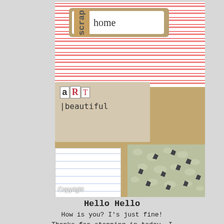[Figure (photo): Scrapbook-style photo showing a craft/art collage with a 'scrap home' label card on pink striped background, 'aRT' and 'beautiful' text stamps on kraft paper, lined notebook paper strip, burlap texture, and fabric with dark spots. 'Copyright' watermark in lower left.]
Hello Hello
How is you? I's just fine!
Thanks for stopping in today, I